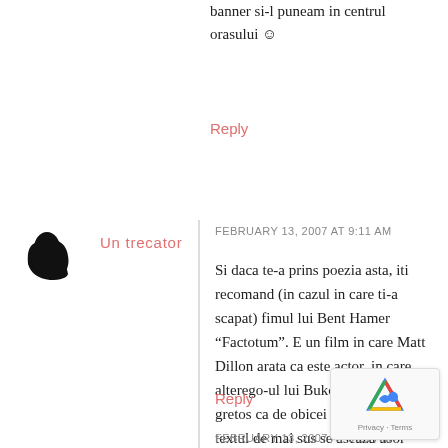banner si-l puneam in centrul orasului :)
Reply
[Figure (illustration): User avatar silhouette (black head profile facing right)]
Un trecator
FEBRUARY 13, 2007 AT 9:11 AM
Si daca te-a prins poezia asta, iti recomand (in cazul in care ti-a scapat) fimul lui Bent Hamer “Factotum”. E un film in care Matt Dillon arata ca este actor, in care alterego-ul lui Bukowski nu este gretos ca de obicei si peste care textul de mai sus se aseaza usor intr-o memorabila scena de final.
Reply
FEBRUARY 13, 2007 AT 9:21 AM